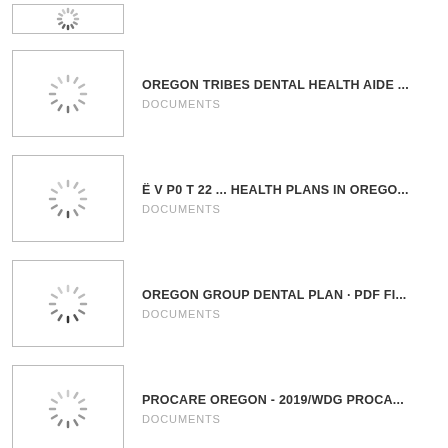[Figure (other): Thumbnail placeholder with loading spinner, partially cut off at top]
OREGON TRIBES DENTAL HEALTH AIDE ...
DOCUMENTS
Ë V P0 T 22 ... HEALTH PLANS IN OREGO...
DOCUMENTS
OREGON GROUP DENTAL PLAN · PDF FI...
DOCUMENTS
PROCARE OREGON - 2019/WDG PROCA...
DOCUMENTS
View More